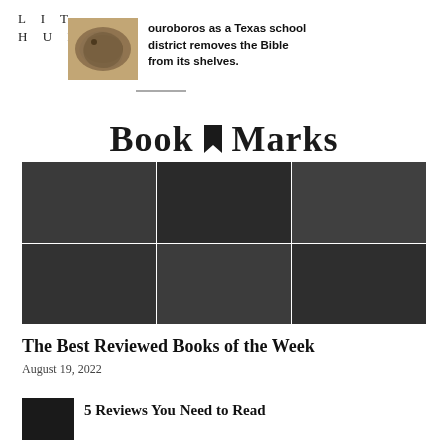LIT HUB
ouroboros as a Texas school district removes the Bible from its shelves.
[Figure (logo): Book Marks logo with bookmark icon between 'Book' and 'Marks']
[Figure (photo): Dark mosaic grid photo composed of 6 dark grey/charcoal rectangles in a 2x3 arrangement]
The Best Reviewed Books of the Week
August 19, 2022
5 Reviews You Need to Read